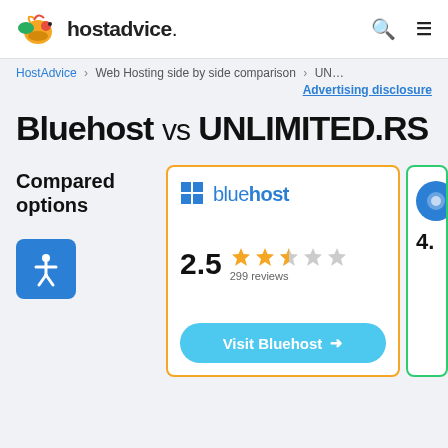hostadvice. [search icon] [menu icon]
HostAdvice > Web Hosting side by side comparison > UN...
Advertising disclosure
Bluehost vs UNLIMITED.RS
Compared options
[Figure (other): Bluehost hosting card with logo, 2.5 star rating (299 reviews), and Visit Bluehost button]
[Figure (other): Partial right card showing a circular logo and score 4.]